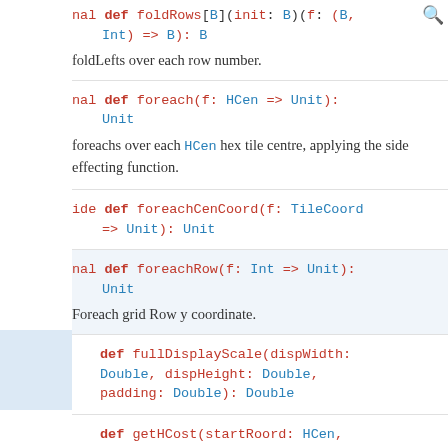nal def foldRows[B](init: B)(f: (B, Int) => B): B
foldLefts over each row number.
nal def foreach(f: HCen => Unit): Unit
foreachs over each HCen hex tile centre, applying the side effecting function.
ide def foreachCenCoord(f: TileCoord => Unit): Unit
nal def foreachRow(f: Int => Unit): Unit
Foreach grid Row y coordinate.
def fullDisplayScale(dispWidth: Double, dispHeight: Double, padding: Double): Double
def getHCost(startRoord: HCen,